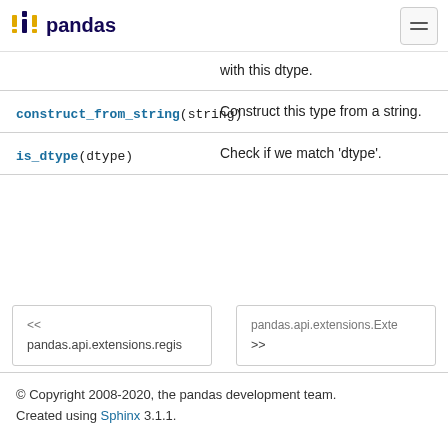pandas
with this dtype.
| Method | Description |
| --- | --- |
| construct_from_string(string) | Construct this type from a string. |
| is_dtype(dtype) | Check if we match 'dtype'. |
<< pandas.api.extensions.regi...
pandas.api.extensions.Exte... >>
© Copyright 2008-2020, the pandas development team. Created using Sphinx 3.1.1.